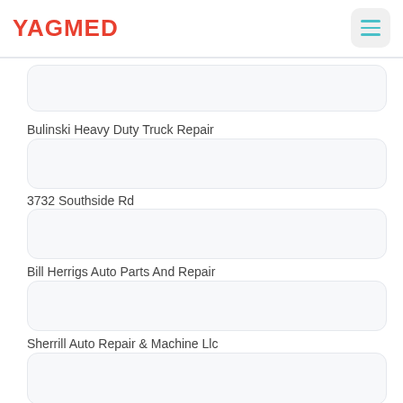YAGMED
Bulinski Heavy Duty Truck Repair
3732 Southside Rd
Bill Herrigs Auto Parts And Repair
Sherrill Auto Repair & Machine Llc
497 W Seneca St
Address: